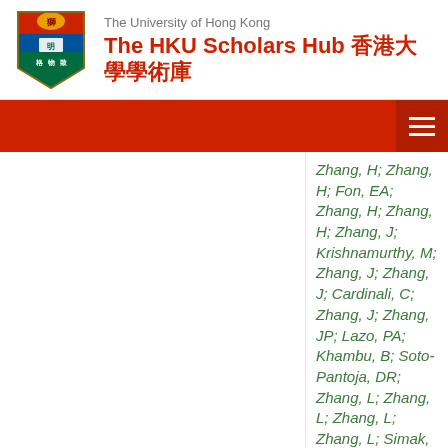The University of Hong Kong — The HKU Scholars Hub 香港大學學術庫
Zhang, H; Zhang, H; Fon, EA; Zhang, H; Zhang, H; Zhang, J; Krishnamurthy, M; Zhang, J; Zhang, J; Cardinali, C; Zhang, J; Zhang, JP; Lazo, PA; Khambu, B; Soto-Pantoja, DR; Zhang, L; Zhang, L; Zhang, L; Zhang, L; Simak, J; Zhang, MY; Zhang, X; Zhang, HR; Zhang, W;